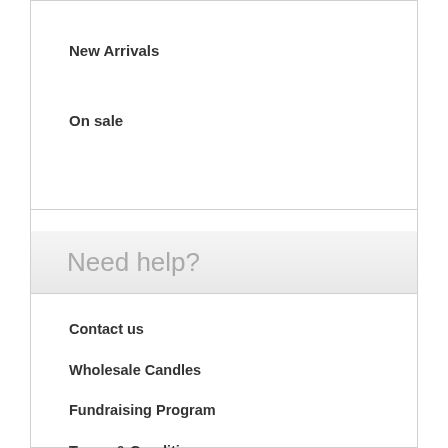New Arrivals
On sale
Need help?
Contact us
Wholesale Candles
Fundraising Program
Terms & Conditions
Burning Tips
Privacy Statement
Testimonials
Candle Videos
About our company
FAQ